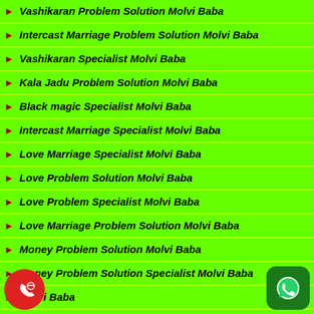Vashikaran Problem Solution Molvi Baba
Intercast Marriage Problem Solution Molvi Baba
Vashikaran Specialist Molvi Baba
Kala Jadu Problem Solution Molvi Baba
Black magic Specialist Molvi Baba
Intercast Marriage Specialist Molvi Baba
Love Marriage Specialist Molvi Baba
Love Problem Solution Molvi Baba
Love Problem Specialist Molvi Baba
Love Marriage Problem Solution Molvi Baba
Money Problem Solution Molvi Baba
Money Problem Solution Specialist Molvi Baba
Molvi Baba
Molvi Baba Ji
Muslim Baba
Muslim Baba Ji
Baba Ji
Astrologer Baba Ji
India Best Astrologer
[Figure (illustration): Red phone call icon circle on bottom left]
[Figure (illustration): WhatsApp icon green rounded square on bottom right]